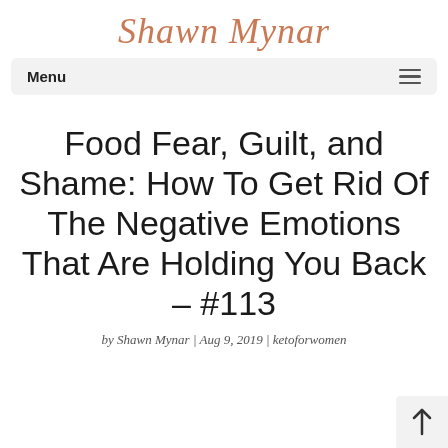Shawn Mynar
Menu
Food Fear, Guilt, and Shame: How To Get Rid Of The Negative Emotions That Are Holding You Back – #113
by Shawn Mynar | Aug 9, 2019 | ketoforwomen